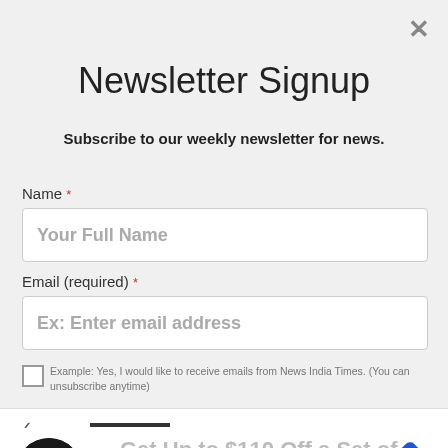Newsletter Signup
Subscribe to our weekly newsletter for news.
Name *
Your Full Name
Email (required) *
Ex: Enter email address
Example: Yes, I would like to receive emails from News India Times. (You can unsubscribe anytime)
Get Up to $110 Off a Set of 4 Select Firestone Tires
Firestone Tire Offer